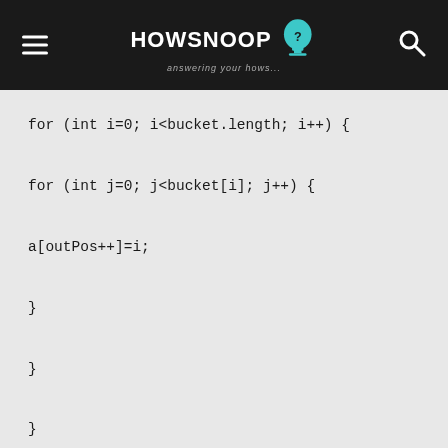HOWSNOOP answering your hows...
for (int i=0; i<bucket.length; i++) {

for (int j=0; j<bucket[i]; j++) {

a[outPos++]=i;

}

}

}

public static void main(String[] args) {